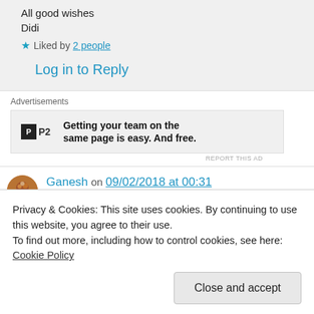All good wishes
Didi
Liked by 2 people
Log in to Reply
Advertisements
[Figure (other): P2 advertisement banner: Getting your team on the same page is easy. And free.]
REPORT THIS AD
Ganesh on 09/02/2018 at 00:31
Privacy & Cookies: This site uses cookies. By continuing to use this website, you agree to their use.
To find out more, including how to control cookies, see here: Cookie Policy
Close and accept